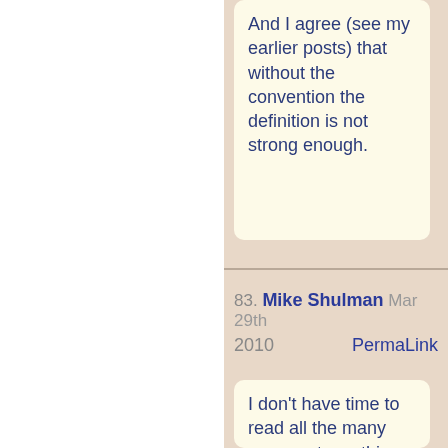And I agree (see my earlier posts) that without the convention the definition is not strong enough.
83. Mike Shulman  Mar 29th 2010  PermaLink
I don't have time to read all the many comments on this thread carefully, but Finn, David, and Eric have taken my meaning correctly. Of course it depends on what is meant by a diagram "commuting," but the only general formal definition I know of for when a diagram